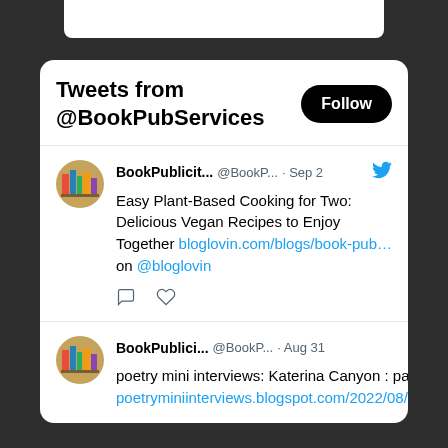[Figure (screenshot): Top white bar element at the top center of the page on dark background]
Tweets from @BookPubServices
Follow
BookPublicit... @BookP... · Sep 2 Easy Plant-Based Cooking for Two: Delicious Vegan Recipes to Enjoy Together bloglovin.com/blogs/book-pub… on @bloglovin
BookPublici... @BookP... · Aug 31 poetry mini interviews: Katerina Canyon : part one poetryminiinterviews.blogspot.com/2022/08/kateri…